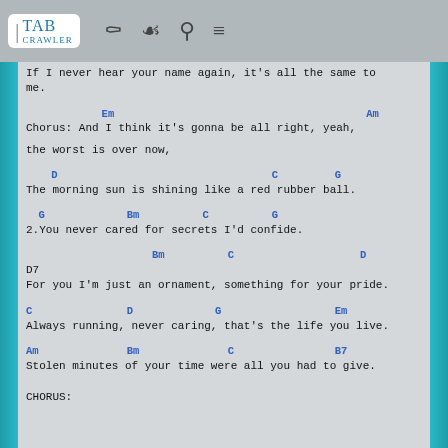TabCrawler
If I never hear your name again, it's all the same to me.
Em                                                    Am
Chorus: And I think it's gonna be all right, yeah,

the worst is over now,
D                                  C         G
The morning sun is shining like a red rubber ball.
G             Bm          C          G
2.You never cared for secrets I'd confide.
Bm          C                    D
D7
For you I'm just an ornament, something for your pride.
C               D             G                  Em
Always running, never caring, that's the life you live.
Am              Bm              C                B7
Stolen minutes of your time were all you had to give.
CHORUS: